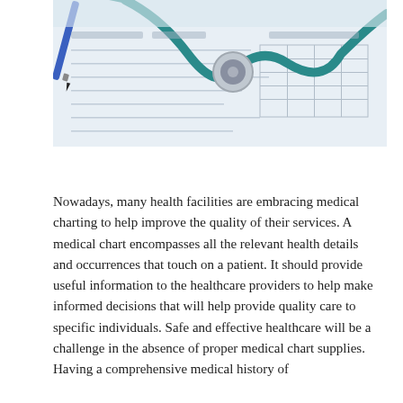[Figure (photo): A stethoscope and a blue pen resting on top of a medical chart/form with printed text and grid lines]
Nowadays, many health facilities are embracing medical charting to help improve the quality of their services. A medical chart encompasses all the relevant health details and occurrences that touch on a patient. It should provide useful information to the healthcare providers to help make informed decisions that will help provide quality care to specific individuals. Safe and effective healthcare will be a challenge in the absence of proper medical chart supplies. Having a comprehensive medical history of